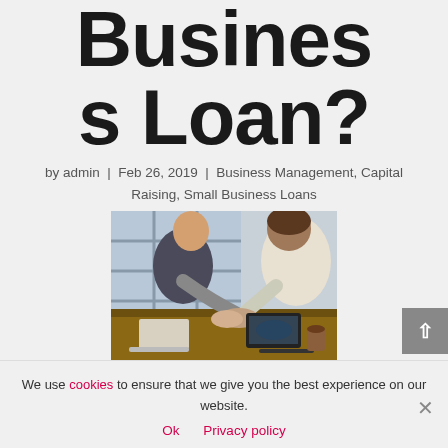Business Loan?
by admin | Feb 26, 2019 | Business Management, Capital Raising, Small Business Loans
[Figure (photo): Two people shaking hands across a table with laptops, in an office setting with large windows]
We use cookies to ensure that we give you the best experience on our website.
Ok  Privacy policy